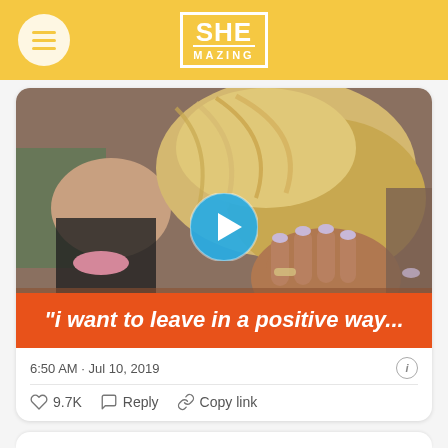SHE MAZING
[Figure (screenshot): Video thumbnail showing two women, one blonde with hair up, with a play button overlay. Orange caption bar reads: “i want to leave in a positive way…”]
6:50 AM · Jul 10, 2019
♡ 9.7K   Reply   Copy link